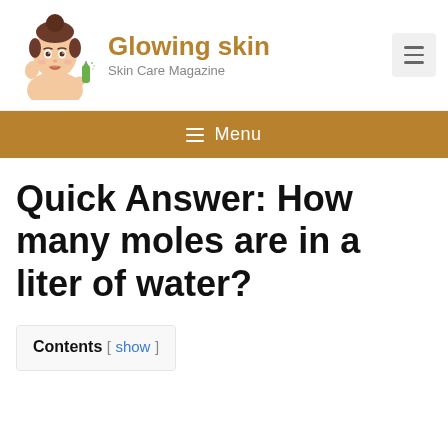Glowing skin — Skin Care Magazine
≡ Menu
Quick Answer: How many moles are in a liter of water?
Contents [ show ]